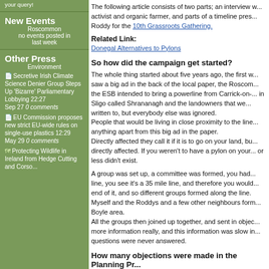your query!
New Events
Roscommon
no events posted in last week
Other Press
Environment
Secretive Irish Climate Science Denier Group Steps Up 'Bizarre' Parliamentary Lobbying 22:27 Sep 27 0 comments
EU Commission proposes new strict EU-wide rules on single-use plastics 12:29 May 29 0 comments
Protecting Wildlife in Ireland from Hedge Cutting and Corso...
The following article consists of two parts; an interview with activist and organic farmer, and parts of a timeline pres... Roddy for the 10th Grassroots Gathering.
Related Link:
Donegal Alternatives to Pylons
So how did the campaign get started?
The whole thing started about five years ago, the first w... saw a big ad in the back of the local paper, the Roscom... the ESB intended to bring a powerline from Carrick-on-... in Sligo called Shrananagh and the landowners that we... written to, but everybody else was ignored.
People that would be living in close proximity to the line... anything apart from this big ad in the paper.
Directly affected they call it if it is to go on your land, bu... directly affected. If you weren't to have a pylon on your... or less didn't exist.
A group was set up, a committee was formed, you had... line, you see it's a 35 mile line, and therefore you would... end of it, and so different groups formed along the line.
Myself and the Roddys and a few other neighbours form... Boyle area.
All the groups then joined up together, and sent in objec... more information really, and this information was slow in... questions were never answered.
How many objections were made in the Planning Pr...